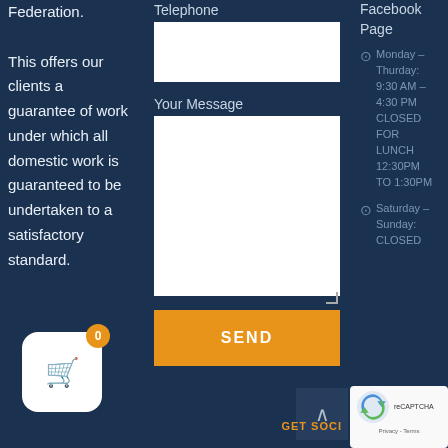Federation. This offers our clients a guarantee of work under which all domestic work is guaranteed to be undertaken to a satisfactory standard.
Telephone
Your Message
SEND
Facebook Page
Monday – Thurday: 9:30 AM – 4:30 PM CLOSED FOR LUNCH 12:30PM TO 1:30PM
Saturday – Sunday: CLOSED
GET SOCI